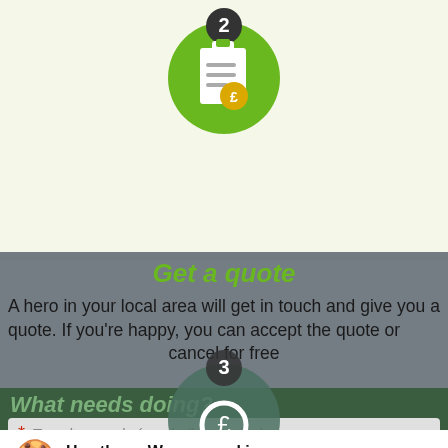[Figure (illustration): Green circle with clipboard and pound sign icon, number 2 badge at top]
Get a quote
A hero in your local area will get in touch and give you a quote. If you're happy, you can accept the quote or cancel for free
[Figure (illustration): Green circle with step 3 icon partially visible behind cookie banner]
Hey there. We use cookies. Cookies make your experience using Local Heroes better. We collect info on how you use our website to make improvements, personalise content and analyse our traffic. It's your choice how we use your data, check out the cookie settings.
What needs doing?
Accept Cookies
Cookie Settings
* Type keywords (e.g. boiler service)